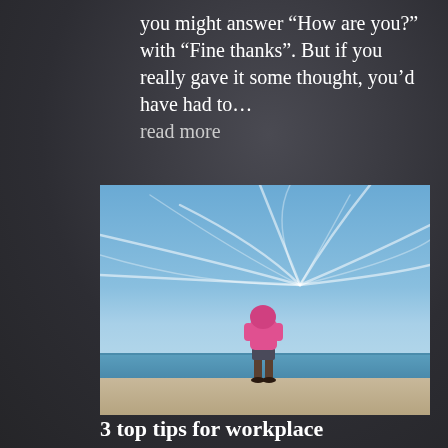you might answer “How are you?” with “Fine thanks”. But if you really gave it some thought, you’d have had to… read more
[Figure (photo): A person wearing a pink hoodie and dark shorts stands on a concrete promenade facing the sea, viewed from behind. Dramatic wispy clouds radiate across a blue sky above a calm ocean horizon.]
3 top tips for workplace